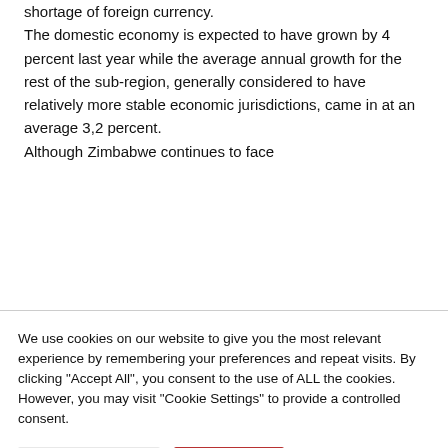shortage of foreign currency.

The domestic economy is expected to have grown by 4 percent last year while the average annual growth for the rest of the sub-region, generally considered to have relatively more stable economic jurisdictions, came in at an average 3,2 percent.

Although Zimbabwe continues to face
We use cookies on our website to give you the most relevant experience by remembering your preferences and repeat visits. By clicking "Accept All", you consent to the use of ALL the cookies. However, you may visit "Cookie Settings" to provide a controlled consent.